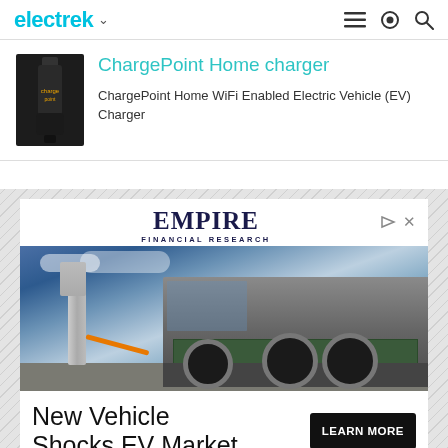electrek
ChargePoint Home charger
ChargePoint Home WiFi Enabled Electric Vehicle (EV) Charger
[Figure (infographic): Empire Financial Research advertisement showing an electric truck being charged at a charging station with text: New Vehicle Shocks EV Market and a LEARN MORE button]
EMPIRE FINANCIAL RESEARCH
New Vehicle Shocks EV Market
LEARN MORE